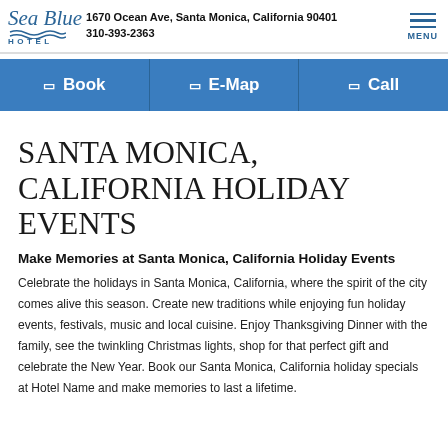Sea Blue HOTEL — 1670 Ocean Ave, Santa Monica, California 90401 — 310-393-2363 — MENU
[Figure (infographic): Navigation bar with three buttons: Book, E-Map, Call on blue background]
SANTA MONICA, CALIFORNIA HOLIDAY EVENTS
Make Memories at Santa Monica, California Holiday Events
Celebrate the holidays in Santa Monica, California, where the spirit of the city comes alive this season. Create new traditions while enjoying fun holiday events, festivals, music and local cuisine. Enjoy Thanksgiving Dinner with the family, see the twinkling Christmas lights, shop for that perfect gift and celebrate the New Year. Book our Santa Monica, California holiday specials at Hotel Name and make memories to last a lifetime.